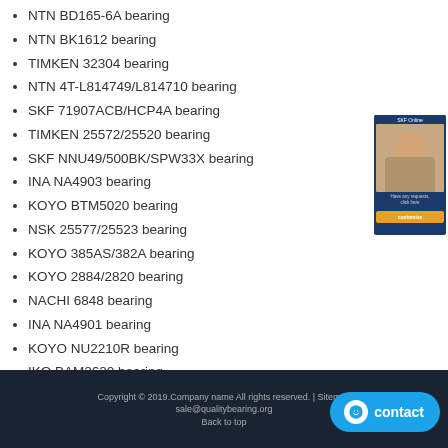NTN BD165-6A bearing
NTN BK1612 bearing
TIMKEN 32304 bearing
NTN 4T-L814749/L814710 bearing
SKF 71907ACB/HCP4A bearing
TIMKEN 25572/25520 bearing
SKF NNU49/500BK/SPW33X bearing
INA NA4903 bearing
KOYO BTM5020 bearing
NSK 25577/25523 bearing
KOYO 385AS/382A bearing
KOYO 2884/2820 bearing
NACHI 6848 bearing
INA NA4901 bearing
KOYO NU2210R bearing
IKO BAM2620 bearing
FAG 713649240 bearing
[Figure (photo): Customer service representative sidebar banner with contact prompt button]
Copyright © 2019.Company name All rights reserved. | Sitemap  email: sale@qualitybearing.org  Back to top